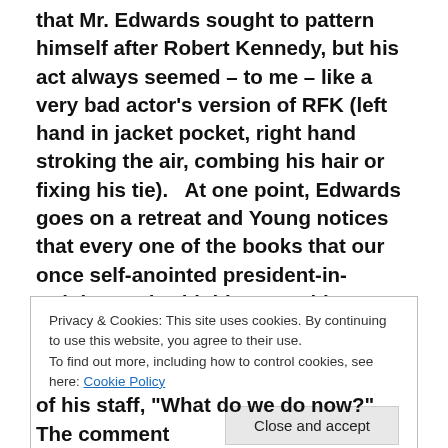that Mr. Edwards sought to pattern himself after Robert Kennedy, but his act always seemed – to me – like a very bad actor's version of RFK (left hand in jacket pocket, right hand stroking the air, combing his hair or fixing his tie).   At one point, Edwards goes on a retreat and Young notices that every one of the books that our once self-anointed president-in-training took with him was either written by Robert Kennedy or was about RFK.   But then Young gets some very basic things wrong.   For example, at one point someone refers to Edwards as the Robert
Privacy & Cookies: This site uses cookies. By continuing to use this website, you agree to their use.
To find out more, including how to control cookies, see here: Cookie Policy
of his staff, "What do we do now?"  The comment